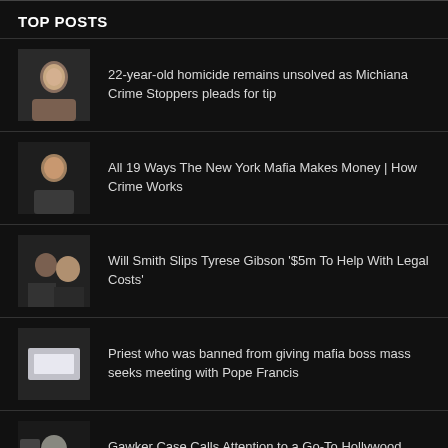TOP POSTS
22-year-old homicide remains unsolved as Michiana Crime Stoppers pleads for tip
All 19 Ways The New York Mafia Makes Money | How Crime Works
Will Smith Slips Tyrese Gibson '$5m To Help With Legal Costs'
Priest who was banned from giving mafia boss mass seeks meeting with Pope Francis
Gawker Case Calls Attention to a Go-To Hollywood Lawyer